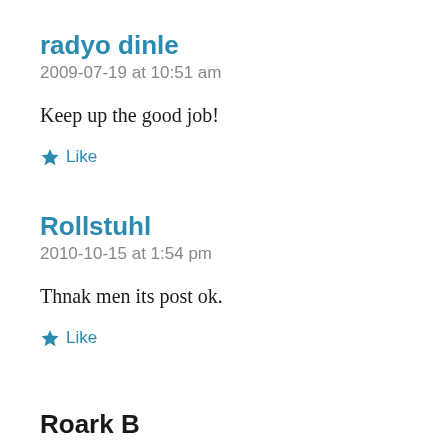radyo dinle
2009-07-19 at 10:51 am
Keep up the good job!
★ Like
Rollstuhl
2010-10-15 at 1:54 pm
Thnak men its post ok.
★ Like
Roark B